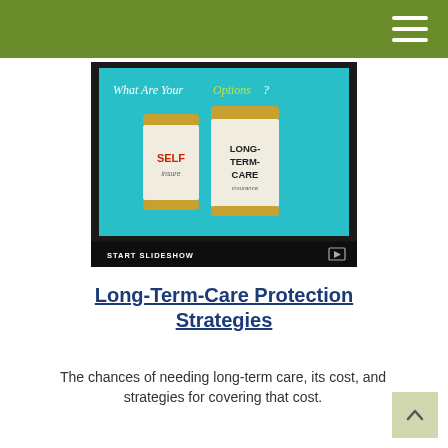[Figure (screenshot): Tablet showing a slideshow slide titled 'What Are Your Options?' with two pill bottles labeled 'SELF Insure' and 'LONG-TERM-CARE Insurance', and a 'START SLIDESHOW' bar at the bottom.]
Long-Term-Care Protection Strategies
The chances of needing long-term care, its cost, and strategies for covering that cost.